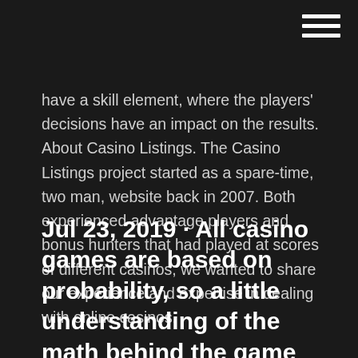have a skill element, where the players' decisions have an impact on the results. About Casino Listings. The Casino Listings project started as a spare-time, two man, website back in 2007. Both experienced advantage players and bonus hunters that had played at scores of different casinos, we wanted to share our experience and expertise in dealing with online casinos.
Jul 23, 2019 · All casino games are based on probability, so a little understanding of the math behind the game goes a long way. Some bets are better than others —and often at different times